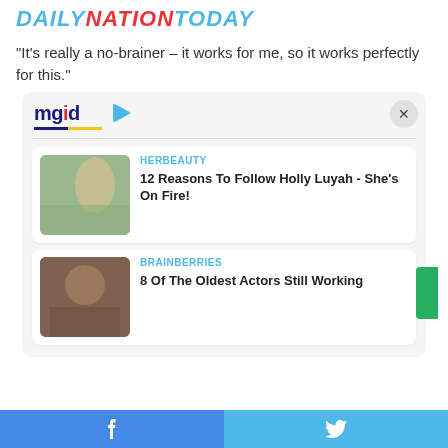DAILYNATIONTODAY
"It's really a no-brainer – it works for me, so it works perfectly for this."
[Figure (screenshot): MGID content widget showing two sponsored article cards: 1) HERBEAUTY - '12 Reasons To Follow Holly Luyah - She's On Fire!' with a photo of a woman on a beach, 2) BRAINBERRIES - '8 Of The Oldest Actors Still Working' with a photo of an elderly man. Widget has a close button (X) in top right corner and MGID logo at top left.]
Facebook share button | Twitter share button